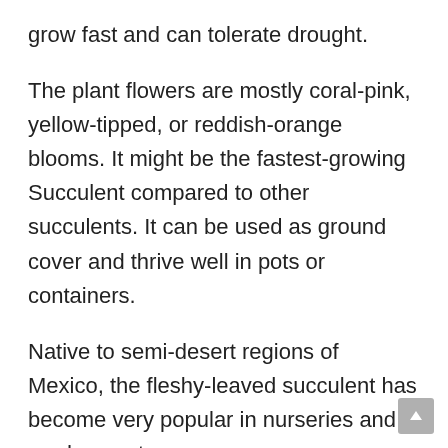grow fast and can tolerate drought.
The plant flowers are mostly coral-pink, yellow-tipped, or reddish-orange blooms. It might be the fastest-growing Succulent compared to other succulents. It can be used as ground cover and thrive well in pots or containers.
Native to semi-desert regions of Mexico, the fleshy-leaved succulent has become very popular in nurseries and garden centers.